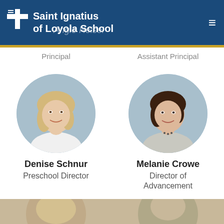Saint Ignatius of Loyola School
Principal
Assistant Principal
[Figure (photo): Circular portrait photo of Denise Schnur, blonde woman smiling in white top, blue background]
Denise Schnur
Preschool Director
[Figure (photo): Circular portrait photo of Melanie Crowe, brunette woman smiling in grey blazer, blue background]
Melanie Crowe
Director of Advancement
[Figure (photo): Partial circular portrait of person, bottom of page, cut off]
[Figure (photo): Partial circular portrait of person, bottom of page, cut off]